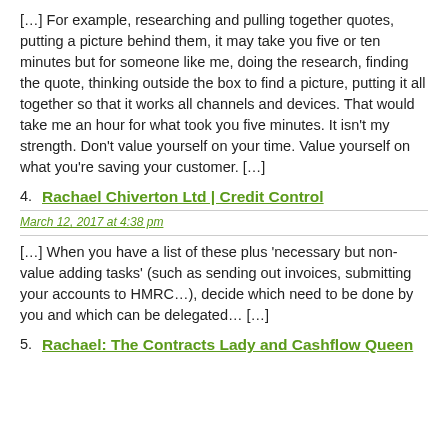[…] For example, researching and pulling together quotes, putting a picture behind them, it may take you five or ten minutes but for someone like me, doing the research, finding the quote, thinking outside the box to find a picture, putting it all together so that it works all channels and devices. That would take me an hour for what took you five minutes. It isn't my strength. Don't value yourself on your time. Value yourself on what you're saving your customer. […]
4. Rachael Chiverton Ltd | Credit Control
March 12, 2017 at 4:38 pm
[…] When you have a list of these plus 'necessary but non-value adding tasks' (such as sending out invoices, submitting your accounts to HMRC…), decide which need to be done by you and which can be delegated… […]
5. Rachael: The Contracts Lady and Cashflow Queen